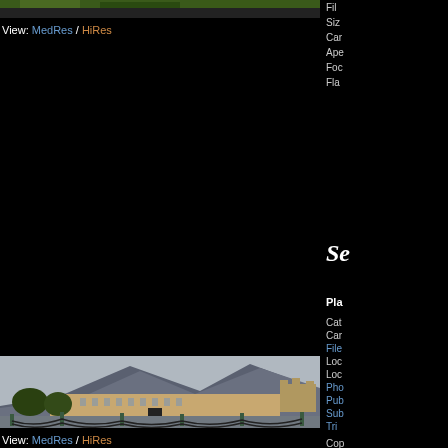[Figure (photo): Top green vegetation aerial photo strip]
View: MedRes / HiRes
Fil
Siz
Car
Ape
Foc
Fla
Se
Pla
[Figure (photo): Prince's Palace of Monaco with mountains behind, cobblestone plaza with decorative chain fencing in foreground]
View: MedRes / HiRes
Cat
Car
File
Loc
Loc
Pho
Pub
Sub
Tri
Cop
File
Siz
Car
Ape